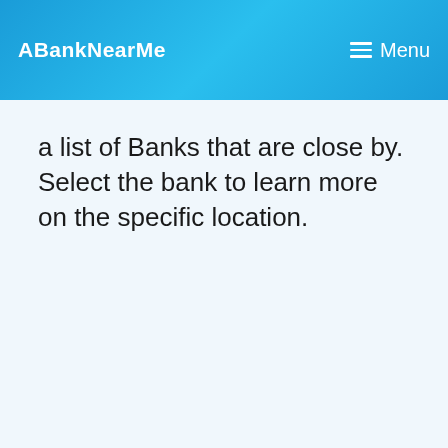ABankNearMe  Menu
a list of Banks that are close by. Select the bank to learn more on the specific location.